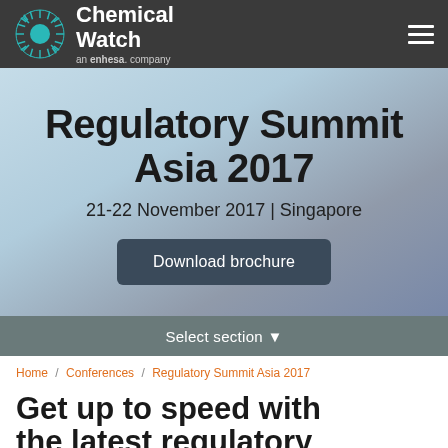Chemical Watch — an enhesa. company
Regulatory Summit Asia 2017
21-22 November 2017 | Singapore
Download brochure
Select section ▼
Home / Conferences / Regulatory Summit Asia 2017
Get up to speed with the latest regulatory